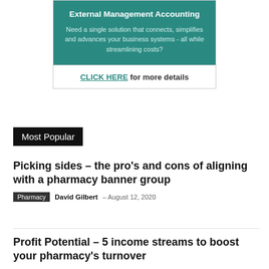[Figure (illustration): Advertisement box with teal background. Title: 'External Management Accounting'. Body text: 'Need a single solution that connects, simplifies and advances your business systems - all while streamlining costs?'. Below a white section with 'CLICK HERE for more details' link.]
Most Popular
Picking sides – the pro's and cons of aligning with a pharmacy banner group
Pharmacy  David Gilbert  –  August 12, 2020
Profit Potential – 5 income streams to boost your pharmacy's turnover